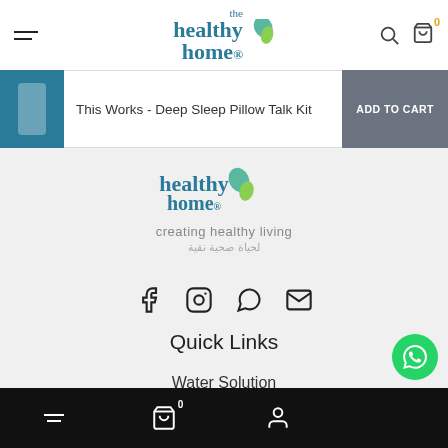the healthy home - navigation header with menu, logo, search and cart icons
[Figure (screenshot): Add to cart bar showing product: This Works - Deep Sleep Pillow Talk Kit with grey ADD TO CART button]
[Figure (logo): The Healthy Home logo with tagline: creating healthy living / لحياة صحية نقية]
[Figure (infographic): Social media icons: Facebook, Instagram, WhatsApp, Email]
Quick Links
Water Solution
Bottom navigation bar with menu, cart (0), profile, and WhatsApp chat button